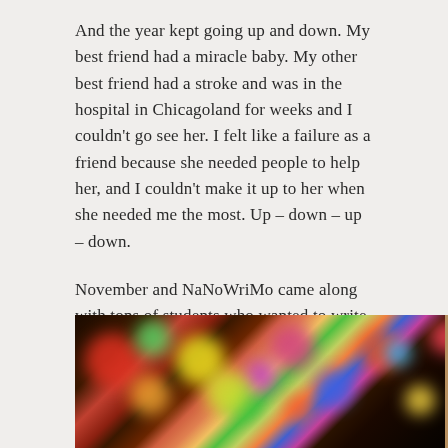And the year kept going up and down. My best friend had a miracle baby. My other best friend had a stroke and was in the hospital in Chicagoland for weeks and I couldn't go see her. I felt like a failure as a friend because she needed people to help her, and I couldn't make it up to her when she needed me the most. Up – down – up – down.
November and NaNoWriMo came along with tons of students who wanted to write novels with me. My 41st birthday. The end of the semester, and finally Christmas.
[Figure (photo): Two side-by-side photos: left shows blurred bokeh Christmas lights in red, orange, yellow, green, blue, and pink tones against a dark background; right shows wrapped gift boxes in brown and tan tones arranged in a grid pattern.]